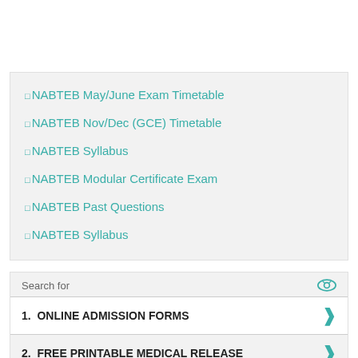NABTEB May/June Exam Timetable
NABTEB Nov/Dec (GCE) Timetable
NABTEB Syllabus
NABTEB Modular Certificate Exam
NABTEB Past Questions
NABTEB Syllabus
Search for
1. ONLINE ADMISSION FORMS
2. FREE PRINTABLE MEDICAL RELEASE
Yahoo! Search | Sponsored
NYSC...